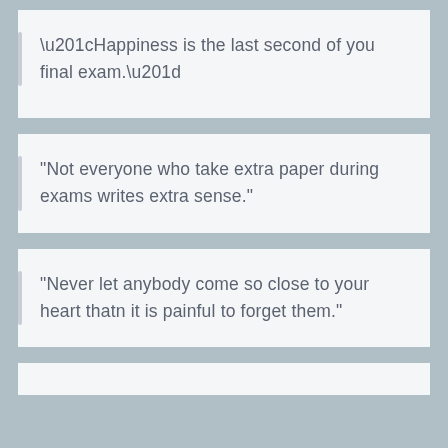“Happiness is the last second of you final exam.”
“Not everyone who take extra paper during exams writes extra sense.”
“Never let anybody come so close to your heart thatn it is painful to forget them.”